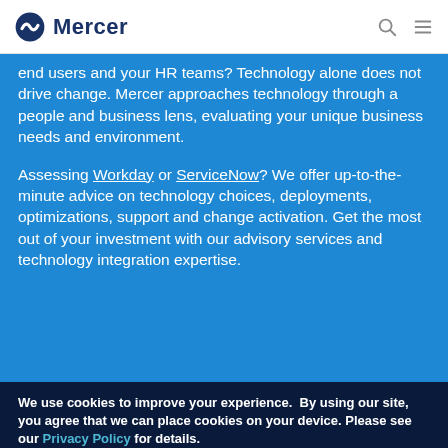Mercer
end users and your HR teams? Technology alone does not drive change. Mercer approaches technology through a people and business lens, evaluating your unique business needs and environment.
Assessing Workday or ServiceNow? We offer up-to-the-minute advice on technology choices, deployments, optimizations, support and change activation. Get the most out of your investment with our advisory services and technology integration expertise.
We use cookies to improve your experience.  By using our site, you agree that we can place cookies on your device. Please see our Privacy Policy for details.
OK